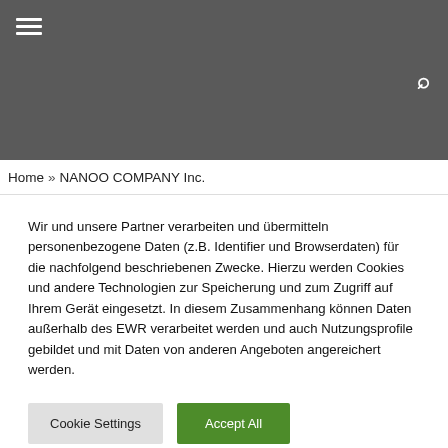[Figure (screenshot): Dark gray navigation header bar with hamburger menu icon in top-left and search icon on the right side]
Home » NANOO COMPANY Inc.
Wir und unsere Partner verarbeiten und übermitteln personenbezogene Daten (z.B. Identifier und Browserdaten) für die nachfolgend beschriebenen Zwecke. Hierzu werden Cookies und andere Technologien zur Speicherung und zum Zugriff auf Ihrem Gerät eingesetzt. In diesem Zusammenhang können Daten außerhalb des EWR verarbeitet werden und auch Nutzungsprofile gebildet und mit Daten von anderen Angeboten angereichert werden.
Cookie Settings
Accept All